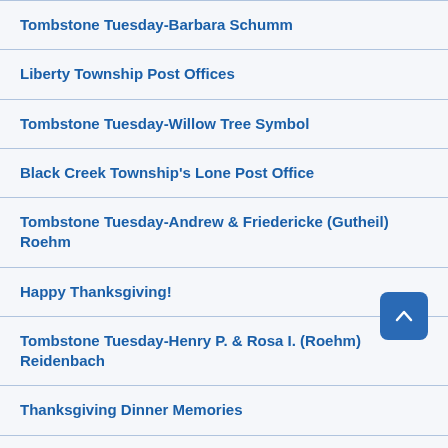Tombstone Tuesday-Barbara Schumm
Liberty Township Post Offices
Tombstone Tuesday-Willow Tree Symbol
Black Creek Township's Lone Post Office
Tombstone Tuesday-Andrew & Friedericke (Gutheil) Roehm
Happy Thanksgiving!
Tombstone Tuesday-Henry P. & Rosa I. (Roehm) Reidenbach
Thanksgiving Dinner Memories
Tombstone Tuesday-Margaretha B. Schumm